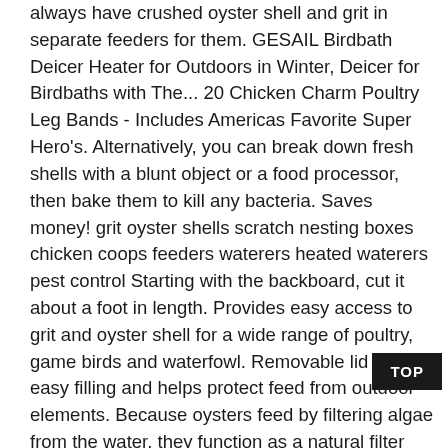always have crushed oyster shell and grit in separate feeders for them. GESAIL Birdbath Deicer Heater for Outdoors in Winter, Deicer for Birdbaths with The... 20 Chicken Charm Poultry Leg Bands - Includes Americas Favorite Super Hero's. Alternatively, you can break down fresh shells with a blunt object or a food processor, then bake them to kill any bacteria. Saves money! grit oyster shells scratch nesting boxes chicken coops feeders waterers heated waterers pest control Starting with the backboard, cut it about a foot in length. Provides easy access to grit and oyster shell for a wide range of poultry, game birds and waterfowl. Removable lid allows easy filling and helps protect feed from outdoor elements. Because oysters feed by filtering algae from the water, they function as a natural filter and improve water that is overloaded with nutrients. It will be available from your feed store, or you can buy it online (although the feed store option will be much less expensive! Unable to add item to List. I am finding the chickens are scared to put heads in the openings so they are not getting the nutrition they need when they need it. Thanks so much, Reviewed in the United